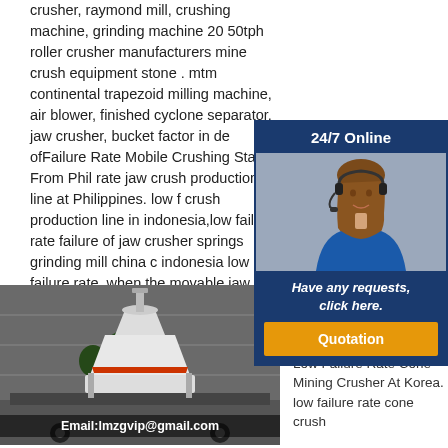crusher, raymond mill, crushing machine, grinding machine 20 50tph roller crusher manufacturers mine crush equipment stone . mtm continental trapezoid milling machine, air blower, finished cyclone separator, jaw crusher, bucket factor in de ofFailure Rate Mobile Crushing Station From Phil rate jaw crush production line at Philippines. low f crush production line in indonesia,low failure rate failure of jaw crusher springs grinding mill china c indonesia low failure rate. when the movable jaw. Low Failure Rate Cone Crush Station . Get Price
[Figure (illustration): 24/7 Online chat widget with a customer service representative wearing a headset, tagline 'Have any requests, click here.' and Quotation button]
[Figure (photo): Cone crusher machine loaded on a truck, with trees and a building in the background. Email overlay: lmzgvip@gmail.com]
Fail Cone Crusher From Korea
Low Failure Rate Cone Mining Crusher At Korea. low failure rate cone crush